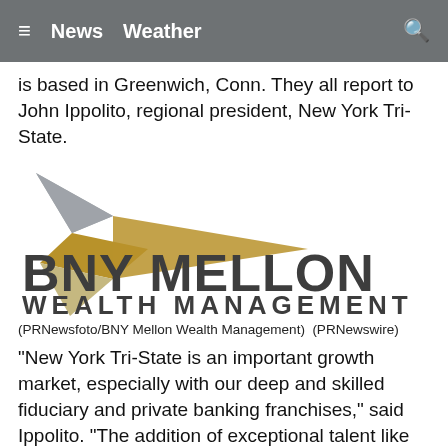≡  News  Weather  🔍
is based in Greenwich, Conn. They all report to John Ippolito, regional president, New York Tri-State.
[Figure (logo): BNY Mellon Wealth Management logo with geometric arrow icon in gray and gold tones, and large bold text 'BNY MELLON' and 'WEALTH MANAGEMENT']
(PRNewsfoto/BNY Mellon Wealth Management)  (PRNewswire)
"New York Tri-State is an important growth market, especially with our deep and skilled fiduciary and private banking franchises," said Ippolito. "The addition of exceptional talent like Wing, Leighton, Marcy and Scott